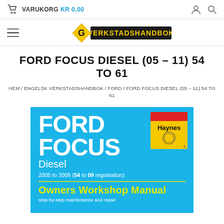VARUKORG KR 0,00
[Figure (logo): Verkstadshandbok logo - yellow diamond shape with arrow and bold yellow text on black background]
FORD FOCUS DIESEL (05 – 11) 54 TO 61
HEM / ENGELSK VERKSTADSHANDBOK / FORD / FORD FOCUS DIESEL (05 – 11) 54 TO 61
[Figure (photo): Haynes Owners Workshop Manual book cover for Ford Focus Diesel 2005 to 2009 (54 to 09 registration), blue background with white bold FORD FOCUS text, Haynes badge top right, yellow Owners Workshop Manual text at bottom]